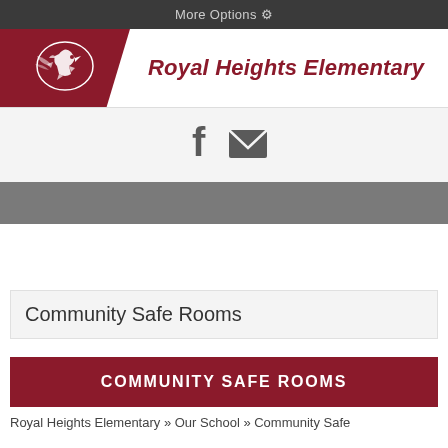More Options ⚙
Royal Heights Elementary
[Figure (logo): Eagle mascot logo in white on maroon background]
[Figure (other): Facebook and email social media icons]
Community Safe Rooms
COMMUNITY SAFE ROOMS
Royal Heights Elementary » Our School » Community Safe